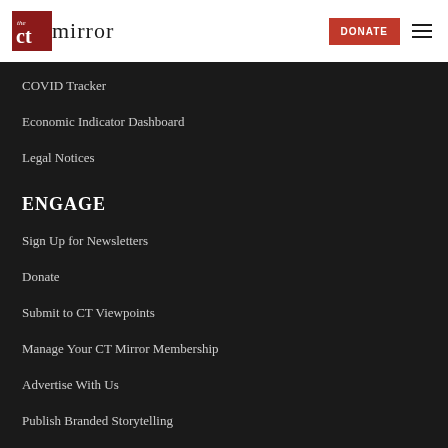The CT Mirror — DONATE
COVID Tracker
Economic Indicator Dashboard
Legal Notices
ENGAGE
Sign Up for Newsletters
Donate
Submit to CT Viewpoints
Manage Your CT Mirror Membership
Advertise With Us
Publish Branded Storytelling